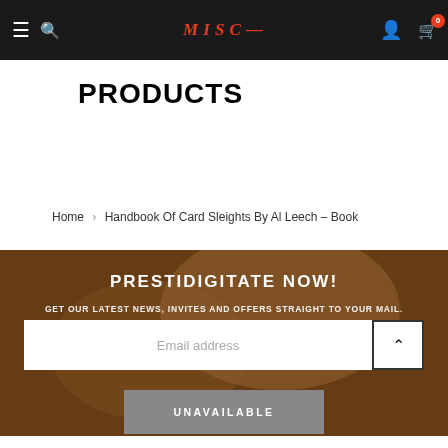MISC- [logo] navigation bar with hamburger, search, account, cart (0)
PRODUCTS
Home > Handbook Of Card Sleights By Al Leech – Book
PRESTIDIGITATE NOW!
GET OUR LATEST NEWS, INVITES AND OFFERS STRAIGHT TO YOUR MAIL.
Email address
UNAVAILABLE